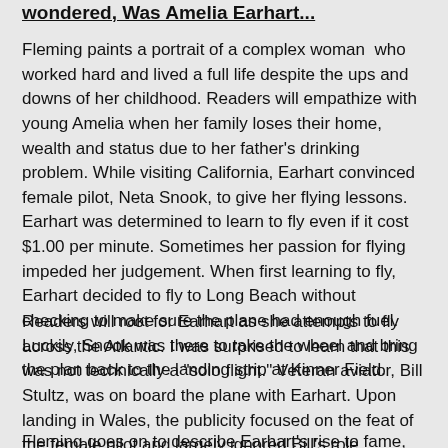wondered, Was Amelia Earhart...
Fleming paints a portrait of a complex woman  who worked hard and lived a full life despite the ups and downs of her childhood. Readers will empathize with young Amelia when her family loses their home, wealth and status due to her father's drinking problem. While visiting California, Earhart convinced female pilot, Neta Snook, to give her flying lessons. Earhart was determined to learn to fly even if it cost $1.00 per minute. Sometimes her passion for flying impeded her judgement. When first learning to fly, Earhart decided to fly to Long Beach without checking to make sure the plane had enough fuel. Luckily, Snook was there to take the wheel and bring the plan back to the landing strip at Kinner Field.
Readers will root for Earhart as she attempts to fly across the Atlantic. I was surprised to learn that this was not technically a "solo flight." Veteran aviator, Bill Stultz, was on board the plane with Earhart. Upon landing in Wales, the publicity focused on the feat of the female pilot and largely ignored Bill's role.
Fleming goes on to describe Earhart's rise to fame, her...